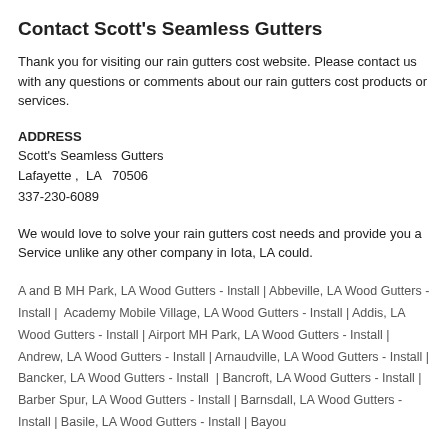Contact Scott's Seamless Gutters
Thank you for visiting our rain gutters cost website. Please contact us with any questions or comments about our rain gutters cost products or services.
ADDRESS
Scott's Seamless Gutters
Lafayette ,  LA   70506
337-230-6089
We would love to solve your rain gutters cost needs and provide you a Service unlike any other company in Iota, LA could.
A and B MH Park, LA Wood Gutters - Install | Abbeville, LA Wood Gutters - Install | Academy Mobile Village, LA Wood Gutters - Install | Addis, LA Wood Gutters - Install | Airport MH Park, LA Wood Gutters - Install | Andrew, LA Wood Gutters - Install | Arnaudville, LA Wood Gutters - Install | Bancker, LA Wood Gutters - Install | Bancroft, LA Wood Gutters - Install | Barber Spur, LA Wood Gutters - Install | Barnsdall, LA Wood Gutters - Install | Basile, LA Wood Gutters - Install | Bayou...